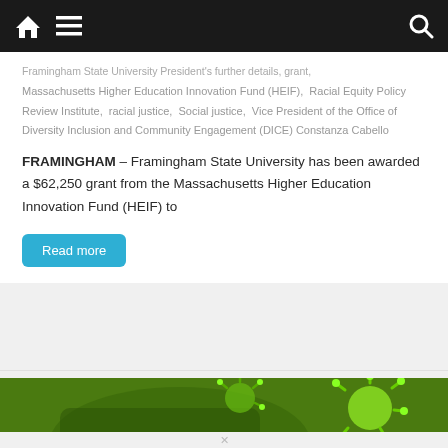Navigation bar with home, menu, and search icons
Framingham State University President's further details, grant, Massachusetts Higher Education Innovation Fund (HEIF), Racial Equity Policy Review Institute, racial justice, Social justice, Vice President of the Office of Diversity Inclusion and Community Engagement (DICE) Constanza Cabello
FRAMINGHAM – Framingham State University has been awarded a $62,250 grant from the Massachusetts Higher Education Innovation Fund (HEIF) to
Read more
[Figure (photo): Green background with a glowing green virus/coronavirus illustration overlaid on a hand silhouette]